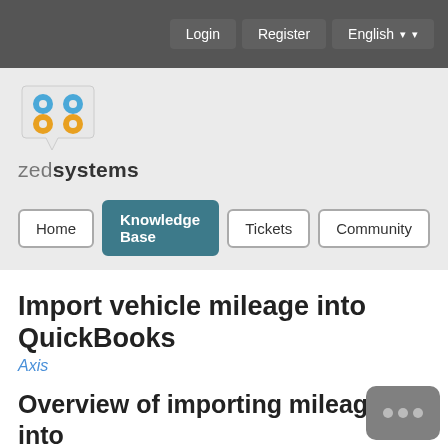Login | Register | English
[Figure (logo): Zed Systems logo with blue and orange speech bubble icon and text 'zedsystems']
Home | Knowledge Base | Tickets | Community
Import vehicle mileage into QuickBooks
Axis
Overview of importing mileage into QuickBooks
In QuickBooks desktop a vehicle mileage transaction is a way to record distanced traveled by a specified vehicle for the purposes